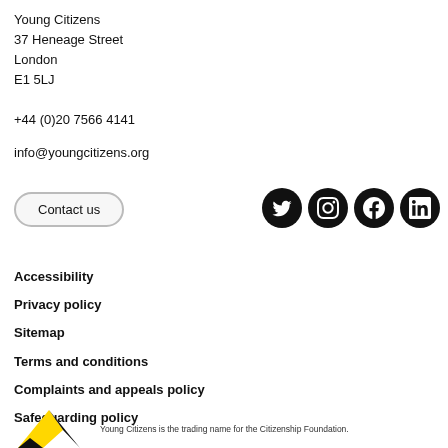Young Citizens
37 Heneage Street
London
E1 5LJ
+44 (0)20 7566 4141
info@youngcitizens.org
Contact us
[Figure (logo): Social media icons: Twitter, Instagram, Facebook, LinkedIn (white icons on black circles)]
Accessibility
Privacy policy
Sitemap
Terms and conditions
Complaints and appeals policy
Safeguarding policy
[Figure (logo): Young Citizens logo — black and yellow chevron/arrow mark]
Young Citizens is the trading name for the Citizenship Foundation.